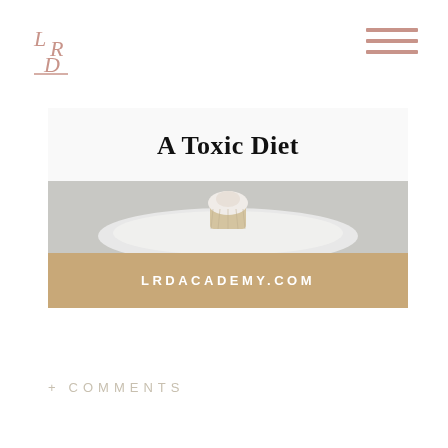[Figure (logo): LRD Academy logo with stylized letters L, R, D in rose/salmon color]
[Figure (other): Hamburger menu icon with three horizontal salmon-colored lines]
[Figure (photo): Featured image block for LRD Academy showing a cupcake on a white plate with gray background. Contains a white semi-transparent title band reading 'A Toxic Diet' and a tan banner at the bottom reading 'LRDACADEMY.COM']
A Toxic Diet
LRDACADEMY.COM
+ COMMENTS